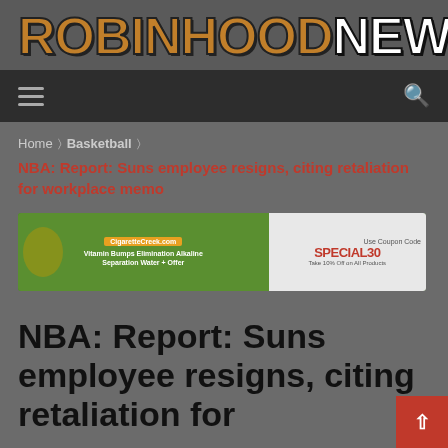[Figure (logo): RobinhoodNews logo with orange/gold stylized bold text and white NEWS text]
Navigation bar with hamburger menu and search icon
Home > Basketball >
NBA: Report: Suns employee resigns, citing retaliation for workplace memo
[Figure (other): Advertisement banner: CigaretteCreek.com vitamin supplements ad on green background on left, and SPECIAL30 Take 10% Off on All Products ad on right]
NBA: Report: Suns employee resigns, citing retaliation for